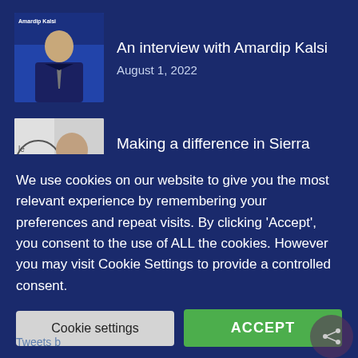[Figure (photo): Thumbnail photo of Amardip Kalsi in a suit with blue background]
An interview with Amardip Kalsi
August 1, 2022
[Figure (photo): Thumbnail photo of a man with 'Again' text visible in background]
Making a difference in Sierra Leone
July 26, 2022
We use cookies on our website to give you the most relevant experience by remembering your preferences and repeat visits. By clicking 'Accept', you consent to the use of ALL the cookies. However you may visit Cookie Settings to provide a controlled consent.
Cookie settings
ACCEPT
Tweets b